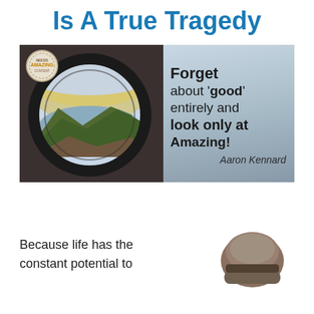Is A True Tragedy
[Figure (illustration): Inspirational image with a circular camera lens/fisheye lens held up showing a scenic lake and mountain landscape. Right side has quote text: 'Forget about good entirely and look only at Amazing! — Aaron Kennard'. There is a circular stamp logo in top left corner.]
Because life has the constant potential to